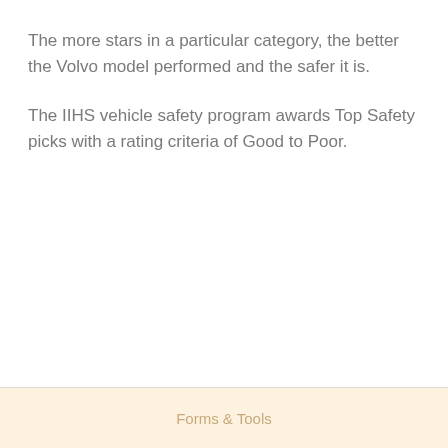The more stars in a particular category, the better the Volvo model performed and the safer it is.
The IIHS vehicle safety program awards Top Safety picks with a rating criteria of Good to Poor.
Forms & Tools